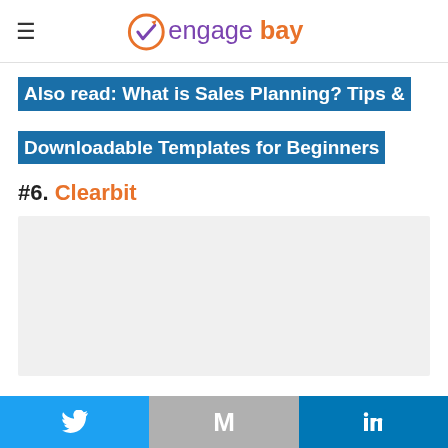engagebay
Also read: What is Sales Planning? Tips & Downloadable Templates for Beginners
#6. Clearbit
[Figure (other): Light gray image placeholder box for Clearbit content]
Social share bar: Twitter, Gmail, LinkedIn